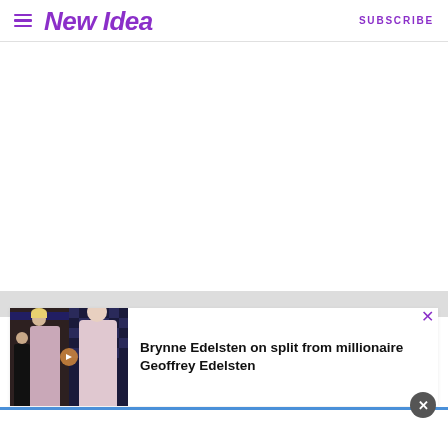New Idea — SUBSCRIBE
[Figure (screenshot): New Idea website screenshot showing header with hamburger menu, New Idea logo in purple italic, and SUBSCRIBE link. Below is a large blank white content area, a gray bar, and a story card with two photos of Brynne Edelsten before and after split, with headline 'Brynne Edelsten on split from millionaire Geoffrey Edelsten' and a close button (×). A circular close button appears at bottom right.]
Brynne Edelsten on split from millionaire Geoffrey Edelsten